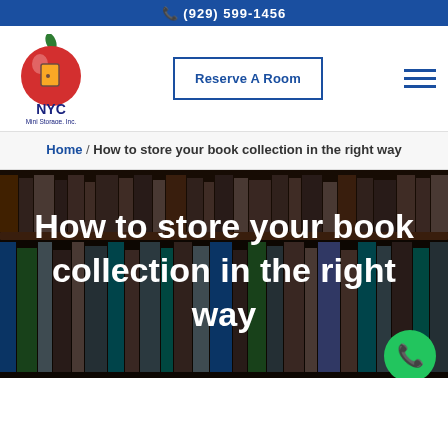(929) 599-1456
[Figure (logo): NYC Mini Storage Inc. logo featuring a red apple with a door cutout and green leaf on top, with 'NYC' in dark blue and 'Mini Storage, Inc.' below]
Reserve A Room
Home / How to store your book collection in the right way
[Figure (photo): Photo of books on library shelves, showing two rows: top row with older hardcover books, bottom row showing book spines with various titles. Large white bold text overlay reads: How to store your book collection in the right way]